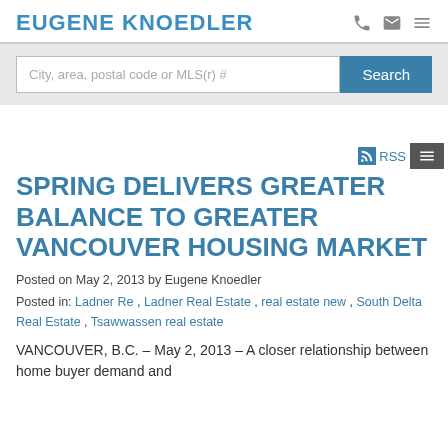EUGENE KNOEDLER
[Figure (screenshot): Search bar with placeholder text 'City, area, postal code or MLS(r) #' and a blue Search button]
SPRING DELIVERS GREATER BALANCE TO GREATER VANCOUVER HOUSING MARKET
Posted on May 2, 2013 by Eugene Knoedler
Posted in: Ladner Re , Ladner Real Estate , real estate new , South Delta Real Estate , Tsawwassen real estate
VANCOUVER, B.C. – May 2, 2013 – A closer relationship between home buyer demand and